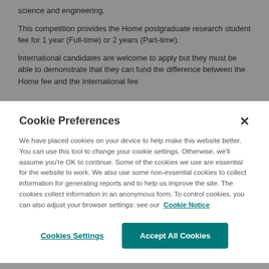science and engineering.
This competition provides the Home postgraduate research student fee for 1 year (Full-time) or 2 years (Part-time).
International candidates are welcome to apply but they must be able to demonstrate that they can fund the difference between the Home fee and the International fee
Cookie Preferences
We have placed cookies on your device to help make this website better. You can use this tool to change your cookie settings. Otherwise, we'll assume you're OK to continue. Some of the cookies we use are essential for the website to work. We also use some non-essential cookies to collect information for generating reports and to help us improve the site. The cookies collect information in an anonymous form. To control cookies, you can also adjust your browser settings: see our Cookie Notice
Cookies Settings
Accept All Cookies